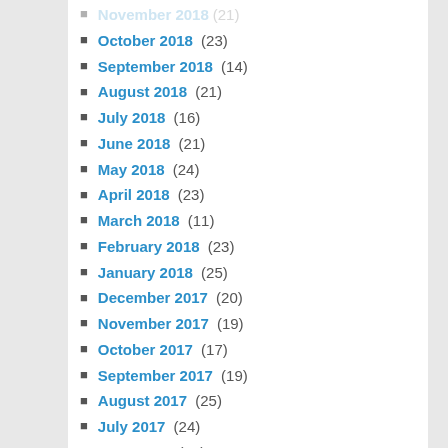October 2018 (23)
September 2018 (14)
August 2018 (21)
July 2018 (16)
June 2018 (21)
May 2018 (24)
April 2018 (23)
March 2018 (11)
February 2018 (23)
January 2018 (25)
December 2017 (20)
November 2017 (19)
October 2017 (17)
September 2017 (19)
August 2017 (25)
July 2017 (24)
June 2017 (21)
May 2017 (20)
April 2017 (21)
March 2017 (19)
February 2017 (20)